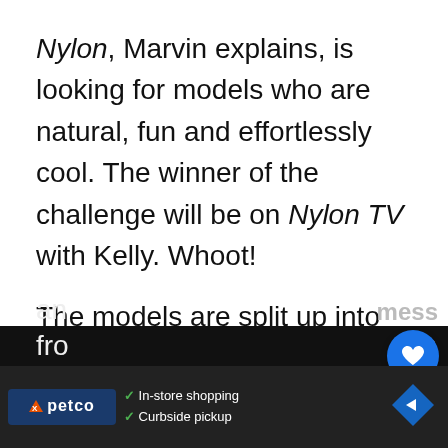Nylon, Marvin explains, is looking for models who are natural, fun and effortlessly cool. The winner of the challenge will be on Nylon TV with Kelly. Whoot!
The models are split up into teams of three and are expected to pick all their own makeup, hair and items from Kelly's line.
The teams end up being Matthew, R... Will; Keith, Shei and Adam; and Mirjana, Denzel
[Figure (screenshot): UI overlay with heart/like button (blue circle with white heart icon), count '1', and share button (white circle with share icon). Also a 'What's Next' video preview overlay showing a Buddy TV thumbnail and text 'America's Next Top...' Bottom ad banner for Petco showing in-store shopping and curbside pickup options.]